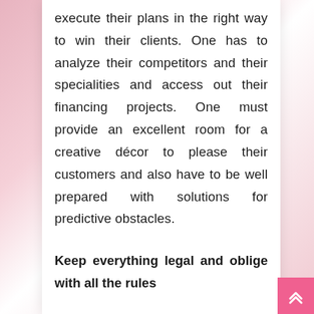execute their plans in the right way to win their clients. One has to analyze their competitors and their specialities and access out their financing projects. One must provide an excellent room for a creative décor to please their customers and also have to be well prepared with solutions for predictive obstacles.
Keep everything legal and oblige with all the rules